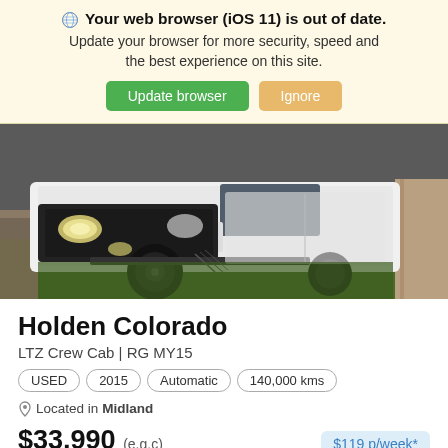Your web browser (iOS 11) is out of date. Update your browser for more security, speed and the best experience on this site.
Update browser | Ignore
[Figure (photo): Front/side view of a white Holden Colorado 4WD truck with black bull bar, parked on grass near a tree trunk]
Holden Colorado
LTZ Crew Cab | RG MY15
USED | 2015 | Automatic | 140,000 kms
Located in Midland
$33,990 (e.g.c) $119 p/week*